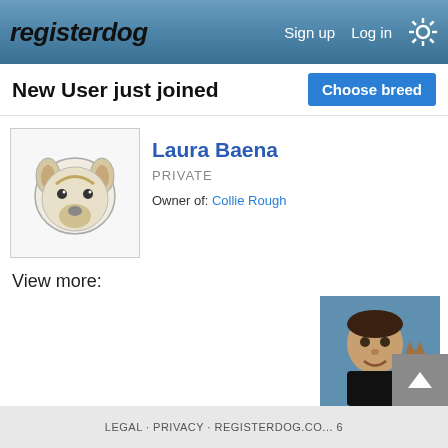registerdog — Sign up   Log in
New User just joined
Choose breed
Laura Baena
PRIVATE
Owner of: Collie Rough
View more:
[Figure (photo): Profile avatar: line drawing of a Collie dog head]
[Figure (photo): Large thumbnail: Cavalier King Charles Spaniels and brown puppies]
[Figure (photo): Thumbnail: German Shepherd dog standing on grass]
[Figure (photo): Thumbnail: yellow background with red logo text]
[Figure (photo): Thumbnail: man smiling with a cat]
[Figure (photo): Thumbnail: pointer/Weimaraner dog standing, website URL text above]
LEGAL · PRIVACY · REGISTERDOG.CO... 6